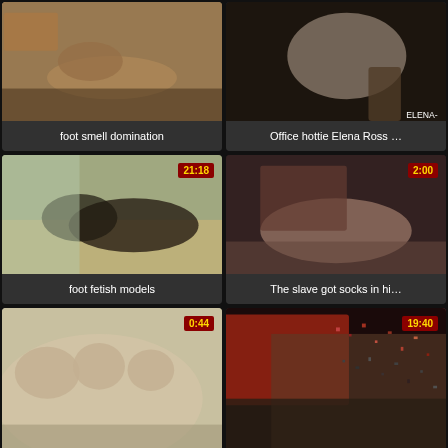[Figure (screenshot): Video thumbnail: foot smell domination]
foot smell domination
[Figure (screenshot): Video thumbnail: Office hottie Elena Ross ...]
Office hottie Elena Ross …
[Figure (screenshot): Video thumbnail: foot fetish models, duration 21:18]
foot fetish models
[Figure (screenshot): Video thumbnail: The slave got socks in hi..., duration 2:00]
The slave got socks in hi…
[Figure (screenshot): Video thumbnail, duration 0:44]
[Figure (screenshot): Video thumbnail, duration 19:40]